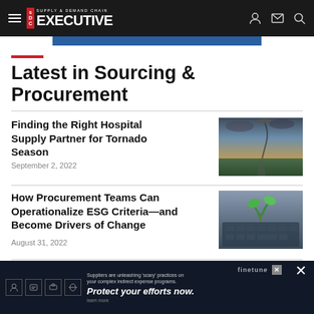Supply & Demand Chain Executive
Latest in Sourcing & Procurement
Finding the Right Hospital Supply Partner for Tornado Season
September 2, 2022
[Figure (photo): Tornado over a field with dramatic sky and road]
How Procurement Teams Can Operationalize ESG Criteria—and Become Drivers of Change
August 31, 2022
[Figure (photo): Laptop keyboard with a small green plant growing from it]
Women in... Influenti...
[Figure (infographic): Advertisement overlay: Finetune - Suppliers are unleashing scary practices on your complex indirect expense programs. Protect your efforts now.]